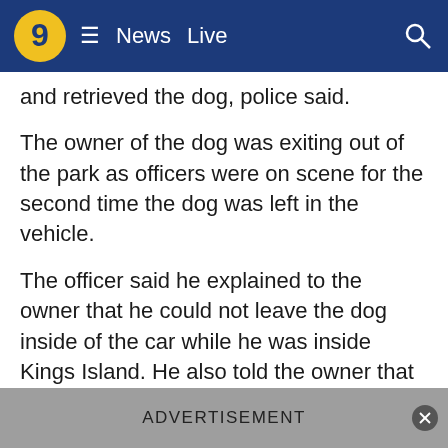9 News Live
and retrieved the dog, police said.
The owner of the dog was exiting out of the park as officers were on scene for the second time the dog was left in the vehicle.
The officer said he explained to the owner that he could not leave the dog inside of the car while he was inside Kings Island. He also told the owner that it was 95 degrees outside and the heat index was well above 100.
Since the owner left his dog inside of the hot vehicle twice in one day, Kings Island advised the owner he was not welcomed back in the park for the rest of the day.
ADVERTISEMENT